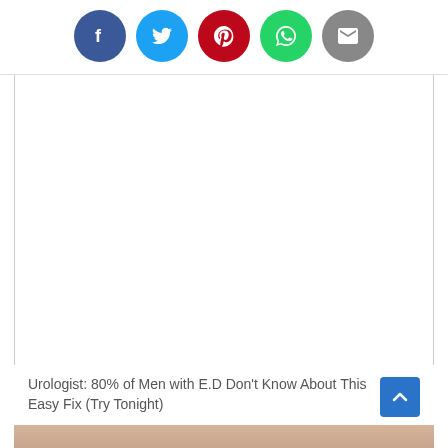[Figure (other): Social media share buttons: Facebook (blue), Twitter (cyan), Pinterest (red), WhatsApp (green), Email (gray)]
[Figure (other): Advertisement placeholder area, white/blank]
Urologist: 80% of Men with E.D Don't Know About This Easy Fix (Try Tonight)
[Figure (photo): Partial image preview at bottom of page, blurred close-up photo]